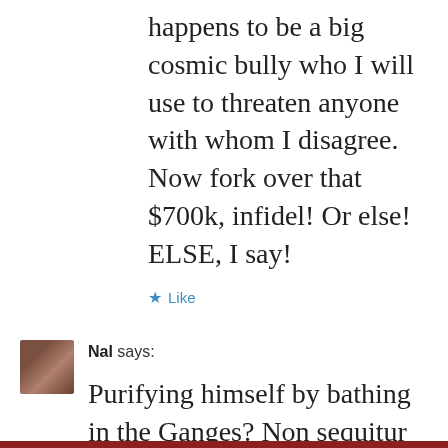happens to be a big cosmic bully who I will use to threaten anyone with whom I disagree. Now fork over that $700k, infidel! Or else! ELSE, I say!
★ Like
Nal says:
Purifying himself by bathing in the Ganges? Non sequitur